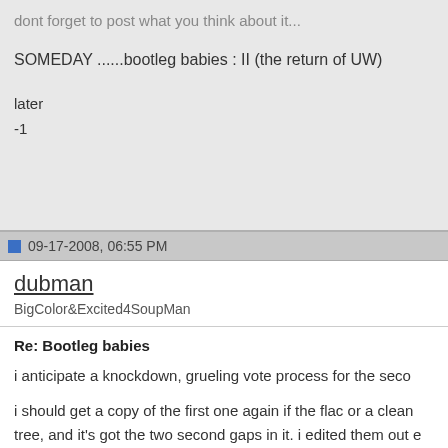dont forget to post what you think about it...
SOMEDAY ......bootleg babies : II (the return of UW)
later
-1
09-17-2008, 06:55 PM
dubman
BigColor&Excited4SoupMan
Re: Bootleg babies
i anticipate a knockdown, grueling vote process for the seco
i should get a copy of the first one again if the flac or a clean tree, and it's got the two second gaps in it. i edited them out e